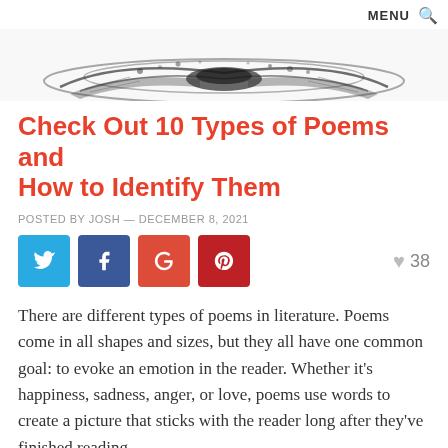MENU 🔍
[Figure (photo): Decorative banner image with abstract ink/splash design in black and white]
Check Out 10 Types of Poems and How to Identify Them
POSTED BY JOSH — DECEMBER 8, 2021
[Figure (infographic): Social sharing buttons: Twitter (blue), Facebook (dark blue), Google (red-orange), Pinterest (dark red), and a heart/like count of 38]
There are different types of poems in literature. Poems come in all shapes and sizes, but they all have one common goal: to evoke an emotion in the reader. Whether it's happiness, sadness, anger, or love, poems use words to create a picture that sticks with the reader long after they've finished reading.